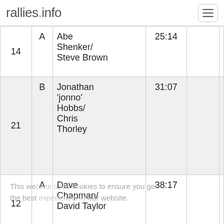rallies.info
| # | Class | Name | Time |  |  |
| --- | --- | --- | --- | --- | --- |
| 14 | A | Abe Shenker/ Steve Brown | 25:14 |  |  |
| 21 | B | Jonathan 'jonno' Hobbs/ Chris Thorley | 31:07 |  |  |
| 12 | A | Dave Chapman/ David Taylor | 38:17 |  |  |
| 35 | D | Colin Evans/ Pat Gadsby | 39:06 |  |  |
| 20 | B | Martyn Langley/ John | 53:41 |  |  |